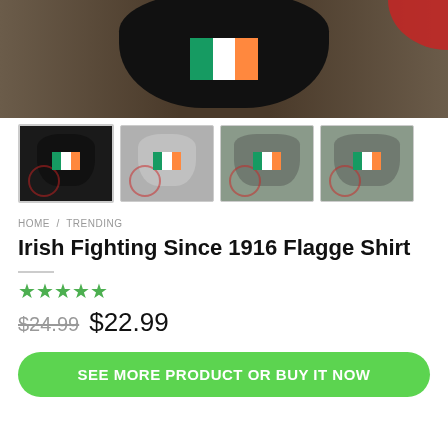[Figure (photo): Main product image: black t-shirt with Irish flag graphic on dark wood background]
[Figure (photo): Thumbnail row: four product variants - black t-shirt, grey t-shirt, grey long-sleeve, grey hoodie, each with Irish flag graphic]
HOME / TRENDING
Irish Fighting Since 1916 Flagge Shirt
★★★★★
$24.99  $22.99
SEE MORE PRODUCT OR BUY IT NOW